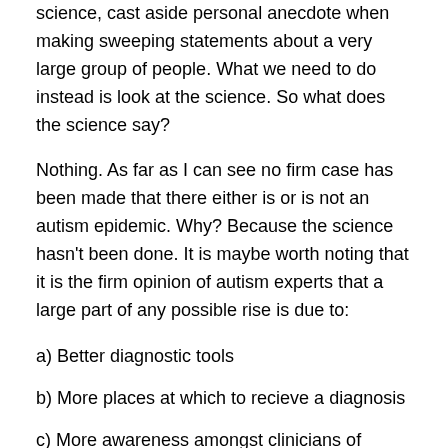science, cast aside personal anecdote when making sweeping statements about a very large group of people. What we need to do instead is look at the science. So what does the science say?
Nothing. As far as I can see no firm case has been made that there either is or is not an autism epidemic. Why? Because the science hasn't been done. It is maybe worth noting that it is the firm opinion of autism experts that a large part of any possible rise is due to:
a) Better diagnostic tools
b) More places at which to recieve a diagnosis
c) More awareness amongst clinicians of autism
d) Earlier diagnosis